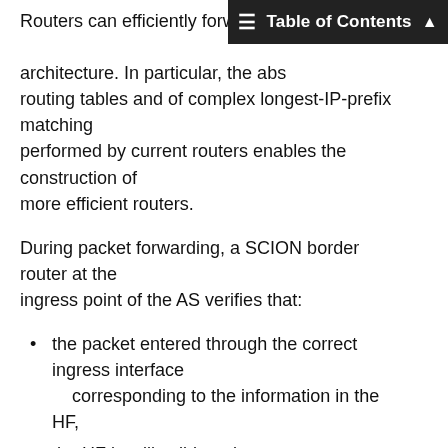Table of Contents
Routers can efficiently forward p... architecture. In particular, the abs... routing tables and of complex longest-IP-prefix matching performed by current routers enables the construction of more efficient routers.
During packet forwarding, a SCION border router at the ingress point of the AS verifies that:
the packet entered through the correct ingress interface corresponding to the information in the HF,
the HF is still valid, and
the MAC in the HF is correct.
If the packet has not yet reached the destination AS, the egress interface number in the HF of the non-destination AS refers to the egress SCION border router of this AS. In this case, the packet can be sent from the ingress SCION border router to the egress SCION border router via native intra-domain forwarding (e.g., IP or MPLS). In case the packet has arrived at the destination AS, the destination AS's border router is sent to the destination address by both the packet...